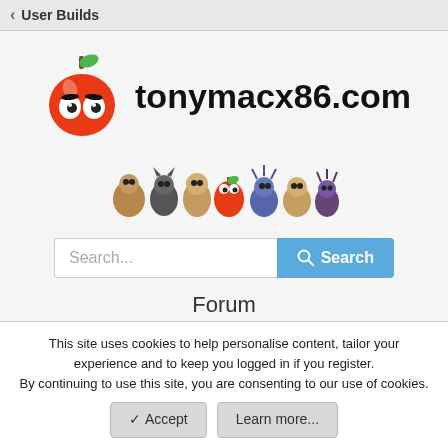< User Builds
[Figure (logo): tonymacx86.com logo: cartoon apple character with eyes and green leaf, followed by text 'tonymacx86.com']
[Figure (illustration): Row of cartoon animal/creature mascot characters]
Search...
Forum
The Build
Installation
Post Installation
The Workshop
This site uses cookies to help personalise content, tailor your experience and to keep you logged in if you register.
By continuing to use this site, you are consenting to our use of cookies.